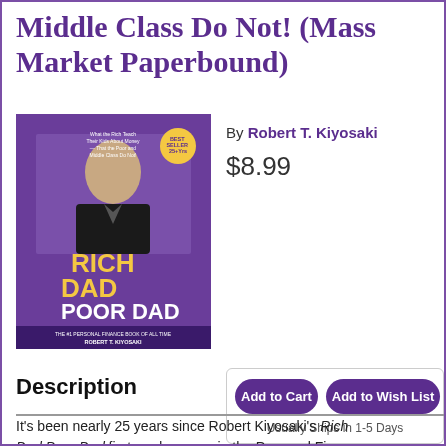Middle Class Do Not! (Mass Market Paperbound)
By Robert T. Kiyosaki
$8.99
[Figure (photo): Book cover of Rich Dad Poor Dad by Robert T. Kiyosaki]
Add to Cart
Add to Wish List
Usually Ships in 1-5 Days
Description
It's been nearly 25 years since Robert Kiyosaki's Rich Dad Poor Dad first made waves in the Personal Finance arena.
It has since become the #1 Personal Finance book of all